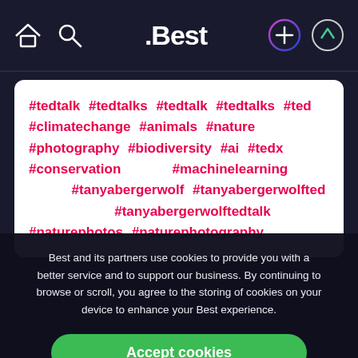.Best
#tedtalk #tedtalks #tedtalk #tedtalks #ted #climatechange #animals #nature #photography #biodiversity #ai #tedx #conservation #machinelearning #tanyabergerwolf #tanyabergerwolfted #tanyabergerwolftedtalk #naturephotos #naturephotography
Best and its partners use cookies to provide you with a better service and to support our business. By continuing to browse or scroll, you agree to the storing of cookies on your device to enhance your Best experience.
Accept cookies
Only essentials
Learn more about our privacy policy.